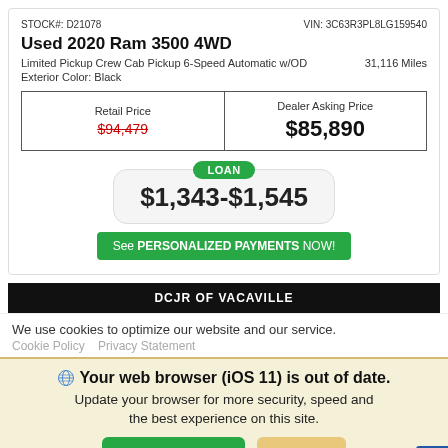STOCK#: D21078   VIN: 3C63R3PL8LG159540
Used 2020 Ram 3500 4WD
Limited Pickup Crew Cab Pickup 6-Speed Automatic w/OD   31,116 Miles
Exterior Color: Black
| Retail Price | Dealer Asking Price |
| --- | --- |
| $94,479 (strikethrough) | $85,890 |
LOAN $1,343-$1,545
See PERSONALIZED PAYMENTS NOW!
DCJR OF VACAVILLE
We use cookies to optimize our website and our service.
Cookie Policy   Privacy Statement
Your web browser (iOS 11) is out of date. Update your browser for more security, speed and the best experience on this site.
Update browser   Ignore